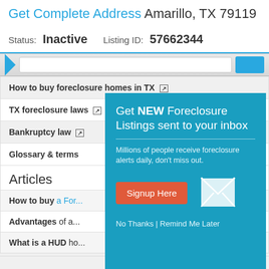Get Complete Address Amarillo, TX 79119
Status: Inactive   Listing ID: 57662344
How to buy foreclosure homes in TX
TX foreclosure laws
Bankruptcy law
Glossary & terms
Articles
How to buy a For...
Advantages of a...
What is a HUD ho...
[Figure (screenshot): Popup modal with teal background: 'Get NEW Foreclosure Listings sent to your inbox'. Includes description text, red Signup Here button, envelope icon, and 'No Thanks | Remind Me Later' links.]